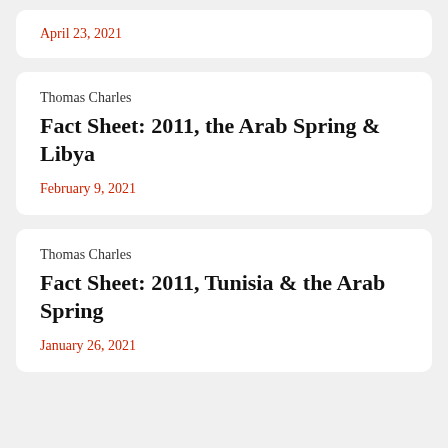April 23, 2021
Thomas Charles
Fact Sheet: 2011, the Arab Spring & Libya
February 9, 2021
Thomas Charles
Fact Sheet: 2011, Tunisia & the Arab Spring
January 26, 2021